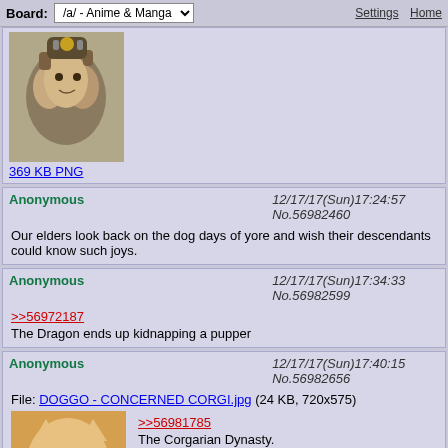Board: /a/ - Anime & Manga | Settings | Home
[Figure (photo): Photo of decorative dog figurines, 369 KB PNG]
369 KB PNG
Anonymous 12/17/17(Sun)17:24:57 No.56982460
Our elders look back on the dog days of yore and wish their descendants could know such joys.
Anonymous 12/17/17(Sun)17:34:33 No.56982599
>>56972187
The Dragon ends up kidnapping a pupper
Anonymous 12/17/17(Sun)17:40:15 No.56982656
File: DOGGO - CONCERNED CORGI.jpg (24 KB, 720x575)
[Figure (photo): Photo of a Corgi dog looking concerned, 24 KB JPG]
>>56981785
The Corgarian Dynasty.
24 KB JPG